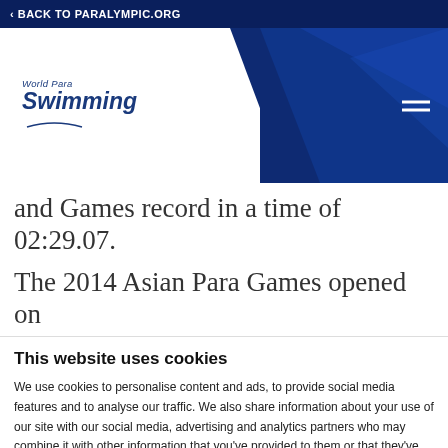< BACK TO PARALYMPIC.ORG
[Figure (logo): World Para Swimming logo with white background panel and dark blue text on a dark blue header background with hamburger menu icon]
and Games record in a time of 02:29.07.
The 2014 Asian Para Games opened on
This website uses cookies
We use cookies to personalise content and ads, to provide social media features and to analyse our traffic. We also share information about your use of our site with our social media, advertising and analytics partners who may combine it with other information that you've provided to them or that they've collected from your use of their services.
Allow all cookies
Allow selection
Use necessary cookies o
essary   Preferences   Statistics   Show details
keting